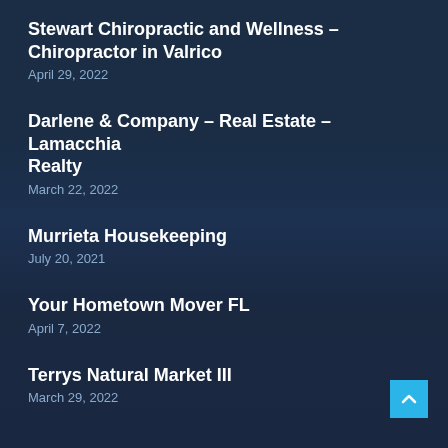Stewart Chiropractic and Wellness – Chiropractor in Valrico
April 29, 2022
Darlene & Company – Real Estate – Lamacchia Realty
March 22, 2022
Murrieta Housekeeping
July 20, 2021
Your Hometown Mover FL
April 7, 2022
Terrys Natural Market III
March 29, 2022